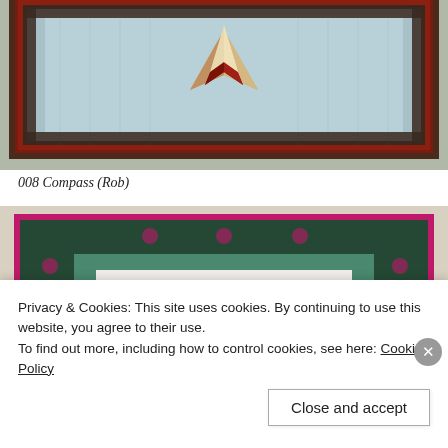[Figure (photo): Top portion of a quilt wall hanging featuring a compass or star design with red, cream, and tan points on a light blue quilted background, surrounded by a dark floral border with deep red/brown fabric edging.]
008 Compass (Rob)
[Figure (photo): A quilt wall hanging with a white center featuring two appliquéd pink tulip/flower plants with dark green stems and leaves, surrounded by a teal/green inner border and a wide dark green floral print border with magenta/pink binding on the outside edges.]
Privacy & Cookies: This site uses cookies. By continuing to use this website, you agree to their use.
To find out more, including how to control cookies, see here: Cookie Policy
Close and accept